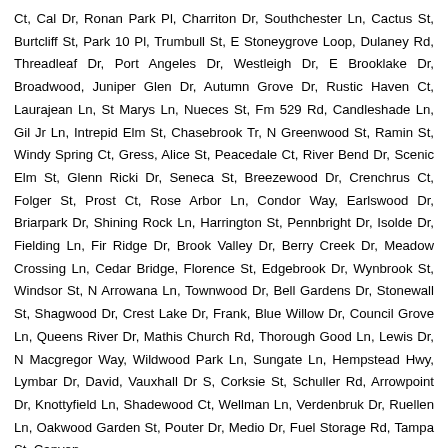Ct, Cal Dr, Ronan Park Pl, Charriton Dr, Southchester Ln, Cactus St, Burtcliff St, Park 10 Pl, Trumbull St, E Stoneygrove Loop, Dulaney Rd, Threadleaf Dr, Port Angeles Dr, Westleigh Dr, E Brooklake Dr, Broadwood, Juniper Glen Dr, Autumn Grove Dr, Rustic Haven Ct, Laurajean Ln, St Marys Ln, Nueces St, Fm 529 Rd, Candleshade Ln, Gil Jr Ln, Intrepid Elm St, Chasebrook Tr, N Greenwood St, Ramin St, Windy Spring Ct, Gress, Alice St, Peacedale Ct, River Bend Dr, Scenic Elm St, Glenn Ricki Dr, Seneca St, Breezewood Dr, Crenchrus Ct, Folger St, Prost Ct, Rose Arbor Ln, Condor Way, Earlswood Dr, Briarpark Dr, Shining Rock Ln, Harrington St, Pennbright Dr, Isolde Dr, Fielding Ln, Fir Ridge Dr, Brook Valley Dr, Berry Creek Dr, Meadow Crossing Ln, Cedar Bridge, Florence St, Edgebrook Dr, Wynbrook St, Windsor St, N Arrowana Ln, Townwood Dr, Bell Gardens Dr, Stonewall St, Shagwood Dr, Crest Lake Dr, Frank, Blue Willow Dr, Council Grove Ln, Queens River Dr, Mathis Church Rd, Thorough Good Ln, Lewis Dr, N Macgregor Way, Wildwood Park Ln, Sungate Ln, Hempstead Hwy, Lymbar Dr, David, Vauxhall Dr S, Corksie St, Schuller Rd, Arrowpoint Dr, Knottyfield Ln, Shadewood Ct, Wellman Ln, Verdenbruk Dr, Ruellen Ln, Oakwood Garden St, Pouter Dr, Medio Dr, Fuel Storage Rd, Tampa St, Canyon